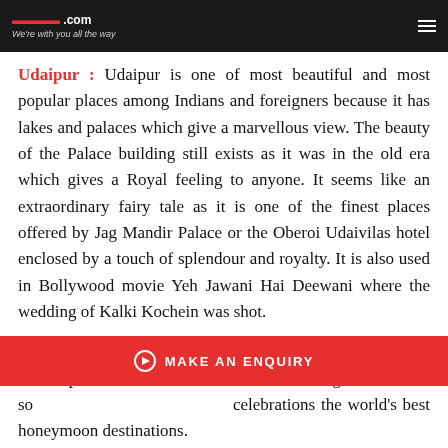We're with you all the way
Udaipur : Udaipur is one of most beautiful and most popular places among Indians and foreigners because it has lakes and palaces which give a marvellous view. The beauty of the Palace building still exists as it was in the old era which gives a Royal feeling to anyone. It seems like an extraordinary fairy tale as it is one of the finest places offered by Jag Mandir Palace or the Oberoi Udaivilas hotel enclosed by a touch of splendour and royalty. It is also used in Bollywood movie Yeh Jawani Hai Deewani where the wedding of Kalki Kochein was shot.
Jaipur : Jaipur is quite popular for Destination Wedding which provides…of heritage, thus it is so popular for grand marriage celebrations the world's best honeymoon destinations.